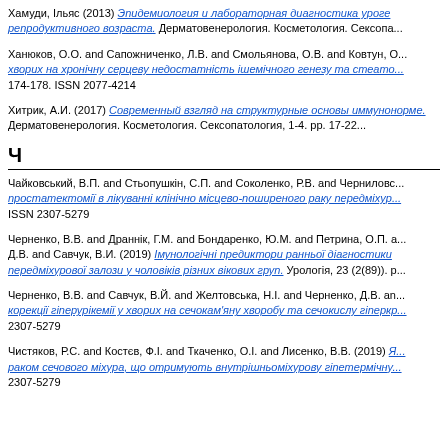Хамуди, Ільяс (2013) Епідеміологія і лабораторна діагностика уроге... репродуктивного возраста. Дерматовенерология. Косметология. Сексопа...
Ханюков, О.О. and Сапожниченко, Л.В. and Смольянова, О.В. and Ковтун, О... хворих на хронічну серцеву недостатність ішемічного генезу та стеато... 174-178. ISSN 2077-4214
Хитрик, А.И. (2017) Современный взгляд на структурные основы иммуно... норме. Дерматовенерология. Косметология. Сексопатология, 1-4. pp. 17-22...
Ч
Чайковський, В.П. and Стьопушкін, С.П. and Соколенко, Р.В. and Черниловс... простатектомії в лікуванні клінічно місцево-поширеного раку передміхур... ISSN 2307-5279
Черненко, В.В. and Драннік, Г.М. and Бондаренко, Ю.М. and Петрина, О.П. а... Д.В. and Савчук, В.И. (2019) Імунологічні предиктори ранньої діагностики передміхурової залози у чоловіків різних вікових груп. Урологія, 23 (2(89)). р...
Черненко, В.В. and Савчук, В.Й. and Желтовська, Н.І. and Черненко, Д.В. аn... корекції гіперурікемії у хворих на сечокам'яну хворобу та сечокислу гіперкр... 2307-5279
Чистяков, Р.С. and Костєв, Ф.І. and Ткаченко, О.І. and Лисенко, В.В. (2019) Я... раком сечового міхура, що отримують внутрішньоміхурову гіпетермічну... 2307-5279